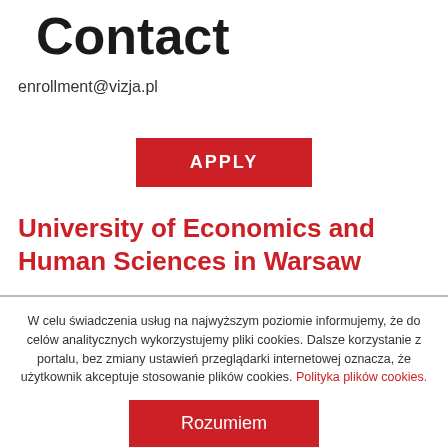Contact
enrollment@vizja.pl
[Figure (other): Red APPLY button]
University of Economics and Human Sciences in Warsaw
W celu świadczenia usług na najwyższym poziomie informujemy, że do celów analitycznych wykorzystujemy pliki cookies. Dalsze korzystanie z portalu, bez zmiany ustawień przeglądarki internetowej oznacza, że użytkownik akceptuje stosowanie plików cookies. Polityka plików cookies.
[Figure (other): Red Rozumiem button]